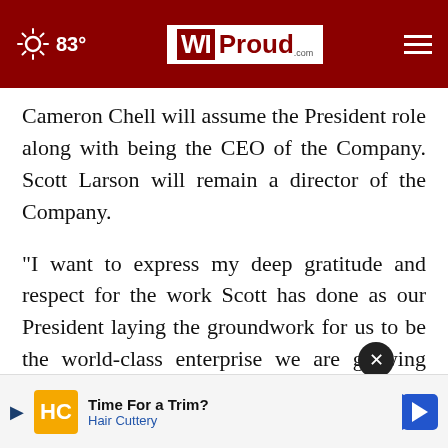83° WIProud.com
Cameron Chell will assume the President role along with being the CEO of the Company. Scott Larson will remain a director of the Company.
“I want to express my deep gratitude and respect for the work Scott has done as our President laying the groundwork for us to be the world-class enterprise we are growing into. I am looking forward to continuing to work with Scott as our lead director, as his ongoing leadership and invaluable”
[Figure (other): Advertisement overlay: Time For a Trim? Hair Cuttery with close button and navigation arrow]
Time For a Trim? Hair Cuttery